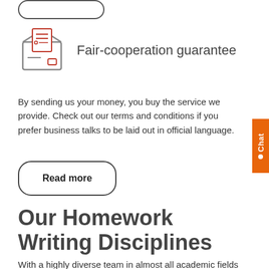[Figure (illustration): Envelope icon with document inside, drawn in red/dark red outlines]
Fair-cooperation guarantee
By sending us your money, you buy the service we provide. Check out our terms and conditions if you prefer business talks to be laid out in official language.
Read more
Our Homework Writing Disciplines
With a highly diverse team in almost all academic fields including: